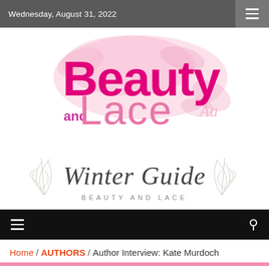Wednesday, August 31, 2022
[Figure (logo): Beauty and Lace logo with decorative pink watercolor background and bold pink/magenta text]
[Figure (logo): Winter Guide – Beauty and Lace banner with cursive script and botanical leaf illustrations]
≡   🔍
Home / AUTHORS / Author Interview: Kate Murdoch